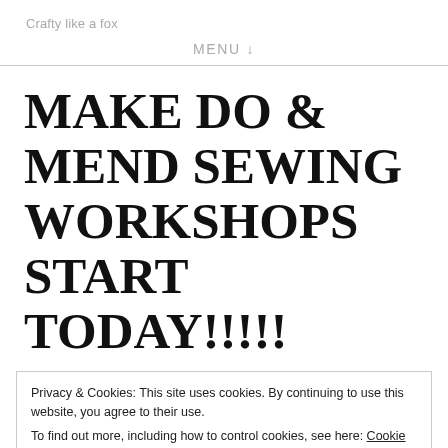Crafty like a fox
MENU ↓
MAKE DO & MEND SEWING WORKSHOPS START TODAY!!!!!
Privacy & Cookies: This site uses cookies. By continuing to use this website, you agree to their use.
To find out more, including how to control cookies, see here: Cookie Policy
Close and accept
4pm.